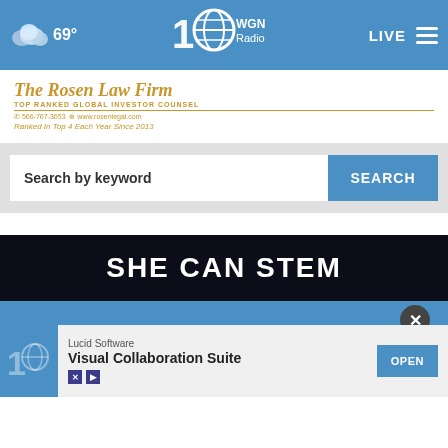WGN Radio — 69° — LIVE
[Figure (screenshot): The Rosen Law Firm advertisement banner — Top Ranked Global Investor Counsel, 566-767-3653, www.rosenlegal.com, Ranked In Top 4 Each Year Since 2013]
Search by keyword
[Figure (screenshot): SHE CAN STEM banner in dark background]
[Figure (screenshot): Lucid Software — Visual Collaboration Suite — OPEN advertisement overlay at bottom of page]